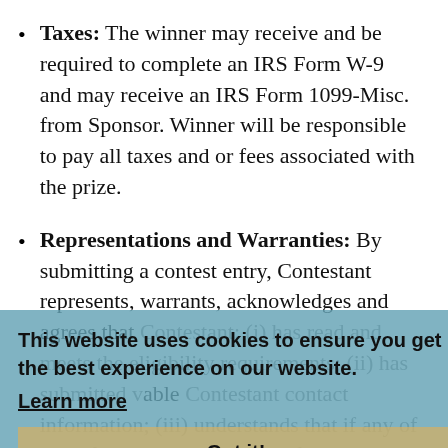Taxes: The winner may receive and be required to complete an IRS Form W-9 and may receive an IRS Form 1099-Misc. from Sponsor. Winner will be responsible to pay all taxes and or fees associated with the prize.
Representations and Warranties: By submitting a contest entry, Contestant represents, warrants, acknowledges and agrees that Contestant: (i) has read and meets the eligibility requirements; (ii) has submitted valid able Contestant contact information; (iii) understands that if any of the information submitted is false or incomplete, it will void the Contestant's entry to the Contest; and Contestant (iv) agrees to be bound by these and any other Official Contest Rules.
This website uses cookies to ensure you get the best experience on our website. Learn more
Got it!